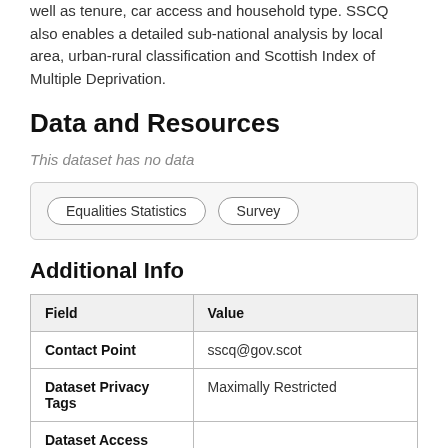well as tenure, car access and household type. SSCQ also enables a detailed sub-national analysis by local area, urban-rural classification and Scottish Index of Multiple Deprivation.
Data and Resources
This dataset has no data
Equalities Statistics  Survey
Additional Info
| Field | Value |
| --- | --- |
| Contact Point | sscq@gov.scot |
| Dataset Privacy Tags | Maximally Restricted |
| Dataset Access Requirements |  |
| Landing Page |  |